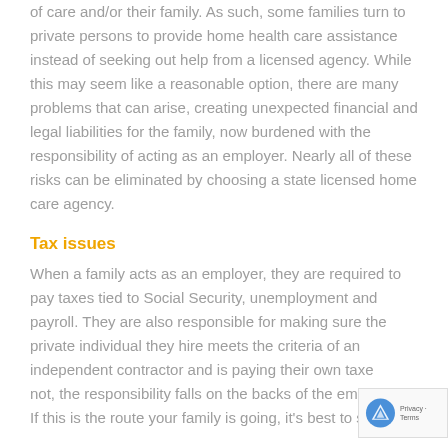of care and/or their family. As such, some families turn to private persons to provide home health care assistance instead of seeking out help from a licensed agency. While this may seem like a reasonable option, there are many problems that can arise, creating unexpected financial and legal liabilities for the family, now burdened with the responsibility of acting as an employer. Nearly all of these risks can be eliminated by choosing a state licensed home care agency.
Tax issues
When a family acts as an employer, they are required to pay taxes tied to Social Security, unemployment and payroll. They are also responsible for making sure the private individual they hire meets the criteria of an independent contractor and is paying their own taxes. If not, the responsibility falls on the backs of the employer. If this is the route your family is going, it's best to seek